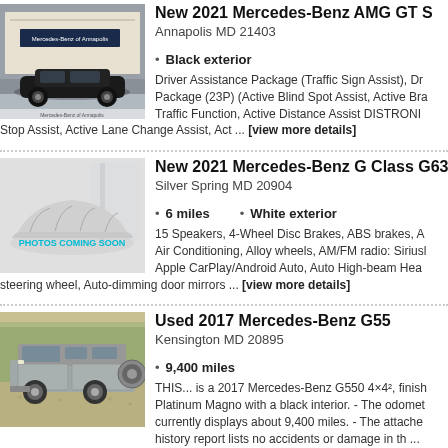[Figure (photo): Black Mercedes-Benz AMG GT S parked in front of Mercedes-Benz of Annapolis dealership]
New 2021 Mercedes-Benz AMG GT S
Annapolis MD 21403
Black exterior
Driver Assistance Package (Traffic Sign Assist), Driver Assistance Package (23P) (Active Blind Spot Assist, Active Brake Assist, Traffic Function, Active Distance Assist DISTRONIC, Stop Assist, Active Lane Change Assist, Act ... [view more details]
[Figure (photo): Car hidden under cloth cover with PHOTOS COMING SOON overlay]
New 2021 Mercedes-Benz G Class G63
Silver Spring MD 20904
6 miles
White exterior
15 Speakers, 4-Wheel Disc Brakes, ABS brakes, Air Conditioning, Alloy wheels, AM/FM radio: Sirius, Apple CarPlay/Android Auto, Auto High-beam Headlights, steering wheel, Auto-dimming door mirrors ... [view more details]
[Figure (photo): Silver Mercedes-Benz G55 SUV parked on gravel]
Used 2017 Mercedes-Benz G55
Kensington MD 20895
9,400 miles
THIS... is a 2017 Mercedes-Benz G550 4×4², finished in Platinum Magno with a black interior. - The odometer currently displays about 9,400 miles. - The attached history report lists no accidents or damage in th ...